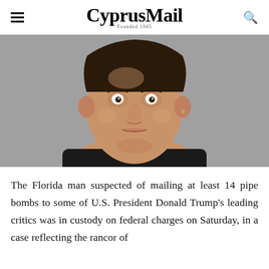CyprusMail Founded 1945
[Figure (photo): Mugshot/booking photo of a middle-aged man with short dark hair wearing a black shirt, looking directly at the camera against a gray background.]
The Florida man suspected of mailing at least 14 pipe bombs to some of U.S. President Donald Trump's leading critics was in custody on federal charges on Saturday, in a case reflecting the rancor of